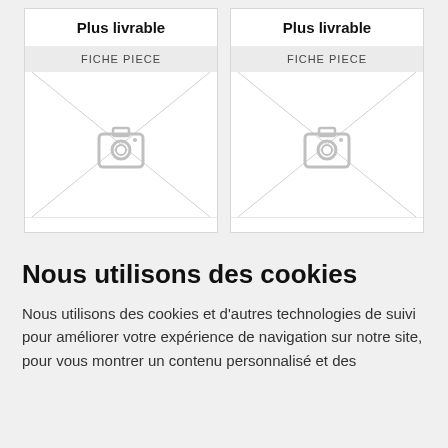Plus livrable
Plus livrable
FICHE PIECE
[Figure (photo): Placeholder image with camera icon and diagonal lines]
FICHE PIECE
[Figure (photo): Placeholder image with camera icon and diagonal lines]
Nous utilisons des cookies
Nous utilisons des cookies et d'autres technologies de suivi pour améliorer votre expérience de navigation sur notre site, pour vous montrer un contenu personnalisé et des